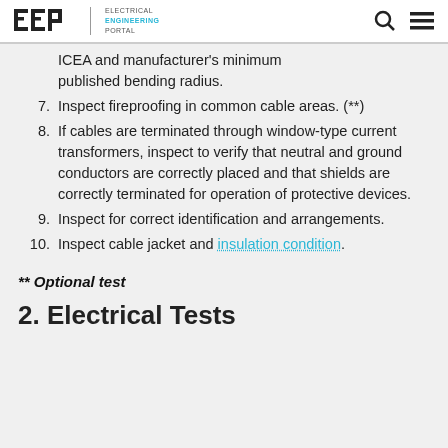EEP | ELECTRICAL ENGINEERING PORTAL
ICEA and manufacturer's minimum published bending radius.
7. Inspect fireproofing in common cable areas. (**)
8. If cables are terminated through window-type current transformers, inspect to verify that neutral and ground conductors are correctly placed and that shields are correctly terminated for operation of protective devices.
9. Inspect for correct identification and arrangements.
10. Inspect cable jacket and insulation condition.
** Optional test
2. Electrical Tests